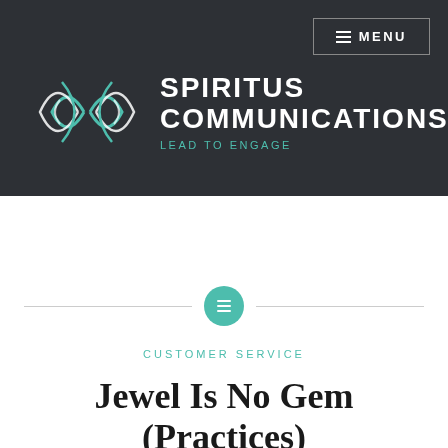[Figure (logo): Spiritus Communications logo with teal abstract wave/arc symbol and text 'SPIRITUS COMMUNICATIONS LEAD TO ENGAGE' on dark background]
CUSTOMER SERVICE
Jewel Is No Gem (Practices)